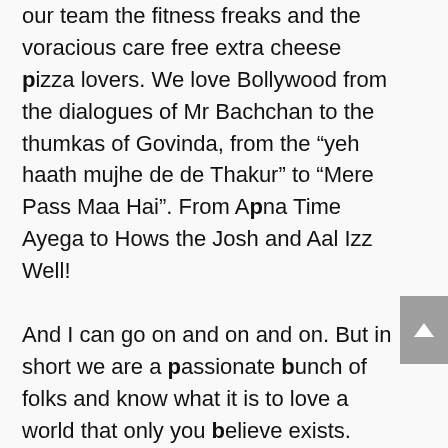our team the fitness freaks and the voracious care free extra cheese pizza lovers. We love Bollywood from the dialogues of Mr Bachchan to the thumkas of Govinda, from the "yeh haath mujhe de de Thakur" to "Mere Pass Maa Hai". From Apna Time Ayega to Hows the Josh and Aal Izz Well!

And I can go on and on and on. But in short we are a passionate bunch of folks and know what it is to love a world that only you believe exists.

Hence at Qwirk Store we strive at making you feel a part of the world you want to live in. Express what you